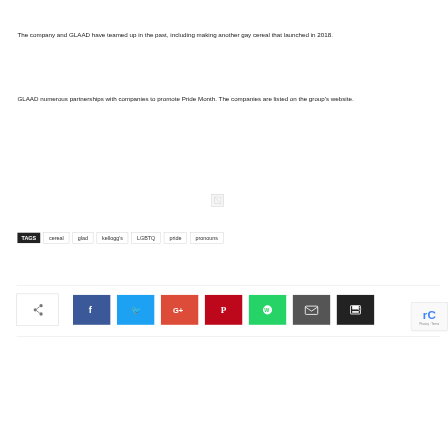The company and GLAAD have teamed up in the past, including making another gay cereal that launched in 2018.
GLAAD numerous partnerships with companies to promote Pride Month. The companies are listed on the group's website.
TAGS  cereal  glad  kellogg's  LGBTQ  pride  pronouns